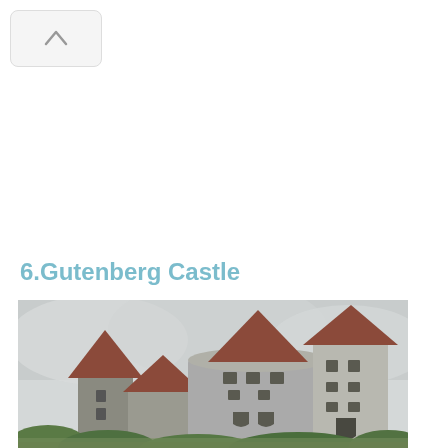[Figure (other): Navigation bar with upward chevron/arrow icon]
6.Gutenberg Castle
[Figure (photo): Photograph of Gutenberg Castle, a medieval stone castle with pointed towers and red/brown roofs against an overcast sky, surrounded by green trees at the base.]